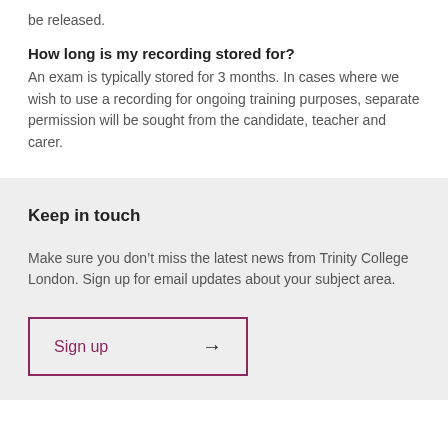be released.
How long is my recording stored for?
An exam is typically stored for 3 months. In cases where we wish to use a recording for ongoing training purposes, separate permission will be sought from the candidate, teacher and carer.
Keep in touch
Make sure you don’t miss the latest news from Trinity College London. Sign up for email updates about your subject area.
Sign up →